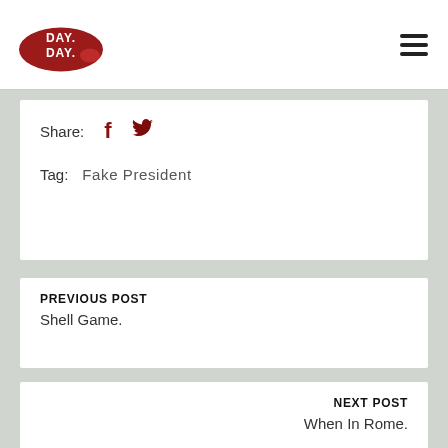DAY DAY [logo]
Share:  [facebook icon]  [twitter icon]
Tag:   Fake President
PREVIOUS POST
Shell Game.
NEXT POST
When In Rome.
47 COMMENTS